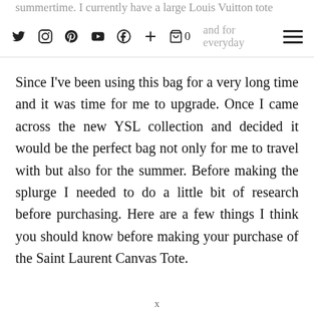summertime. I currently have a large Louis Vuitton tote bag that has found for everyday [nav icons row]
Since I've been using this bag for a very long time and it was time for me to upgrade. Once I came across the new YSL collection and decided it would be the perfect bag not only for me to travel with but also for the summer. Before making the splurge I needed to do a little bit of research before purchasing. Here are a few things I think you should know before making your purchase of the Saint Laurent Canvas Tote.
x